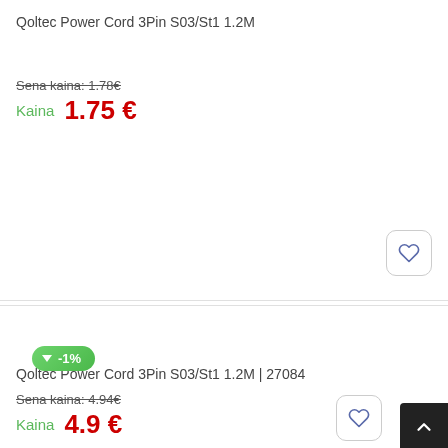Qoltec Power Cord 3Pin S03/St1 1.2M
Sena kaina: 1.78€
Kaina  1.75 €
[Figure (illustration): Green badge with down arrow and -1% discount label]
[Figure (photo): Product placeholder image with mountain/image icon]
Qoltec Power Cord 3Pin S03/St1 1.2M | 27084
Sena kaina: 4.94€
Kaina  4.9 €